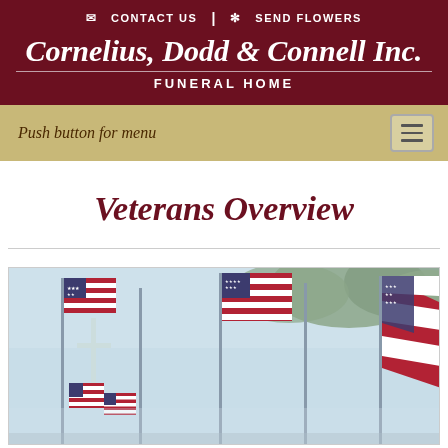✉ CONTACT US | ✻ SEND FLOWERS
Cornelius, Dodd & Connell Inc.
FUNERAL HOME
Push button for menu
Veterans Overview
[Figure (photo): Photograph of multiple American flags on poles displayed outdoors, with a cross visible among the flags, sky and trees in the background — a veterans memorial scene.]